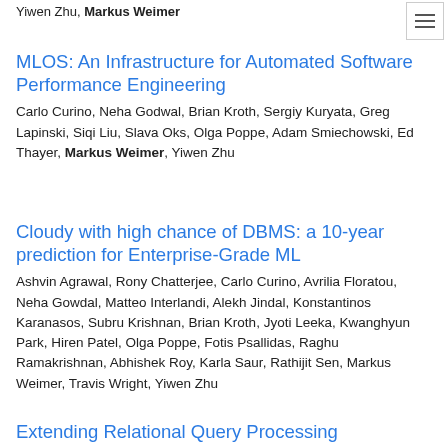Yiwen Zhu, Markus Weimer
MLOS: An Infrastructure for Automated Software Performance Engineering
Carlo Curino, Neha Godwal, Brian Kroth, Sergiy Kuryata, Greg Lapinski, Siqi Liu, Slava Oks, Olga Poppe, Adam Smiechowski, Ed Thayer, Markus Weimer, Yiwen Zhu
Cloudy with high chance of DBMS: a 10-year prediction for Enterprise-Grade ML
Ashvin Agrawal, Rony Chatterjee, Carlo Curino, Avrilia Floratou, Neha Gowdal, Matteo Interlandi, Alekh Jindal, Konstantinos Karanasos, Subru Krishnan, Brian Kroth, Jyoti Leeka, Kwanghyun Park, Hiren Patel, Olga Poppe, Fotis Psallidas, Raghu Ramakrishnan, Abhishek Roy, Karla Saur, Rathijit Sen, Markus Weimer, Travis Wright, Yiwen Zhu
Extending Relational Query Processing